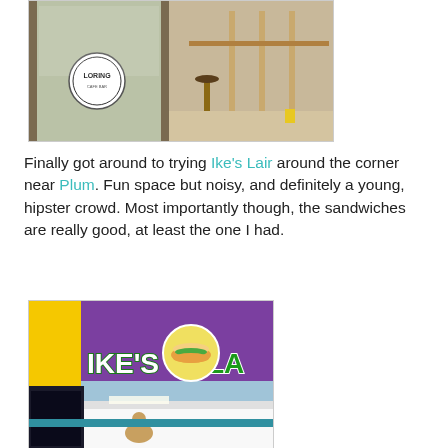[Figure (photo): Interior of a restaurant or cafe under construction, viewed through glass door with a circular logo/sign reading 'LORING'. Inside shows bar stools, wooden framing, and an unfinished space.]
Finally got around to trying Ike's Lair around the corner near Plum. Fun space but noisy, and definitely a young, hipster crowd. Most importantly though, the sandwiches are really good, at least the one I had.
[Figure (photo): Interior of Ike's Lair sandwich shop, showing the colorful purple and yellow walls with the 'IKE'S LAIR' logo/sign featuring a sandwich graphic. The counter and menu boards are visible inside.]